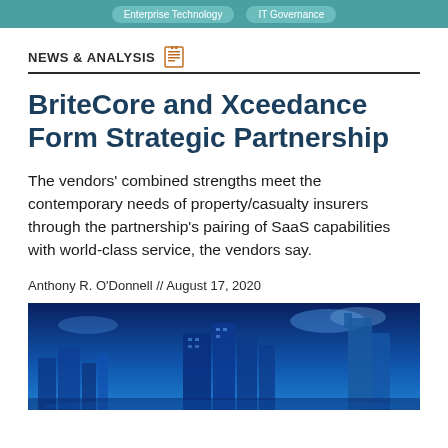Enterprise Technology   IT Governance
NEWS & ANALYSIS
BriteCore and Xceedance Form Strategic Partnership
The vendors' combined strengths meet the contemporary needs of property/casualty insurers through the partnership's pairing of SaaS capabilities with world-class service, the vendors say.
Anthony R. O'Donnell // August 17, 2020
[Figure (photo): Blue-toned cityscape photo with buildings and clouds against a deep blue sky]